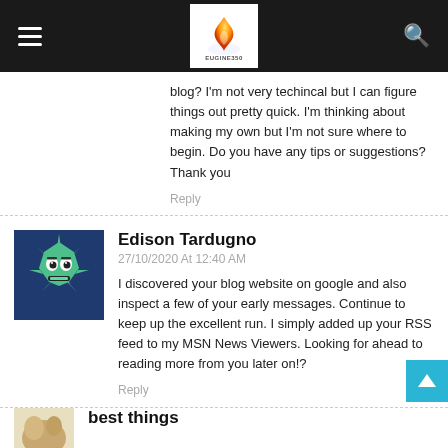EUGINE350 blog navigation header
blog? I'm not very techincal but I can figure things out pretty quick. I'm thinking about making my own but I'm not sure where to begin. Do you have any tips or suggestions? Thank you
Reply
Edison Tardugno
27/10/2020 At 12:40 AM
I discovered your blog website on google and also inspect a few of your early messages. Continue to keep up the excellent run. I simply added up your RSS feed to my MSN News Viewers. Looking for ahead to reading more from you later on!?
Reply
best things